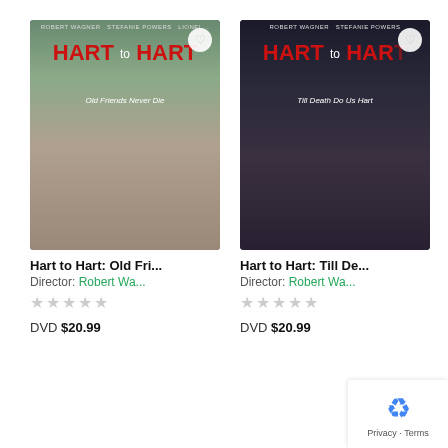[Figure (photo): DVD cover for Hart to Hart: Old Friends Never Die, showing two people standing outdoors]
Hart to Hart: Old Fri...
Director: Robert Wa...
[Figure (other): Five empty star rating icons]
DVD $20.99
[Figure (photo): DVD cover for Hart to Hart: Till Death Do Us Hart, showing a man in a suit and a woman in white]
Hart to Hart: Till De...
Director: Robert Wa...
[Figure (other): Five empty star rating icons]
DVD $20.99
[Figure (other): reCAPTCHA privacy badge showing recycling arrows icon with Privacy - Terms text]